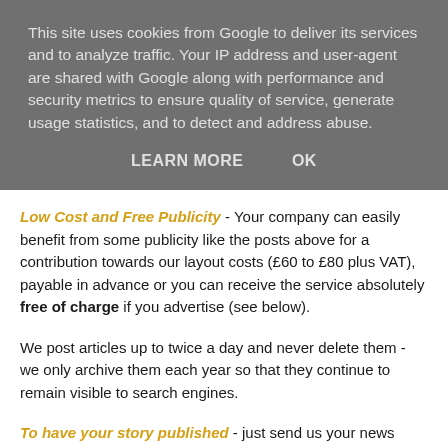This site uses cookies from Google to deliver its services and to analyze traffic. Your IP address and user-agent are shared with Google along with performance and security metrics to ensure quality of service, generate usage statistics, and to detect and address abuse.
LEARN MORE   OK
Low Cost and Free Publicity - Your company can easily benefit from some publicity like the posts above for a contribution towards our layout costs (£60 to £80 plus VAT), payable in advance or you can receive the service absolutely free of charge if you advertise (see below).
We post articles up to twice a day and never delete them - we only archive them each year so that they continue to remain visible to search engines.
To have your story published - just send us your news item, logo and image(s) and we will review the material, make any necessary changes to the wording / wordcount and then advise you when it will be published.